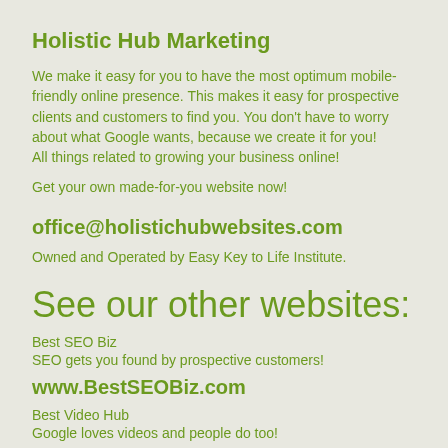Holistic Hub Marketing
We make it easy for you to have the most optimum mobile-friendly online presence. This makes it easy for prospective clients and customers to find you. You don't have to worry about what Google wants, because we create it for you!
All things related to growing your business online!

Get your own made-for-you website now!
office@holistichubwebsites.com
Owned and Operated by Easy Key to Life Institute.
See our other websites:
Best SEO Biz
SEO gets you found by prospective customers!
www.BestSEOBiz.com
Best Video Hub
Google loves videos and people do too!